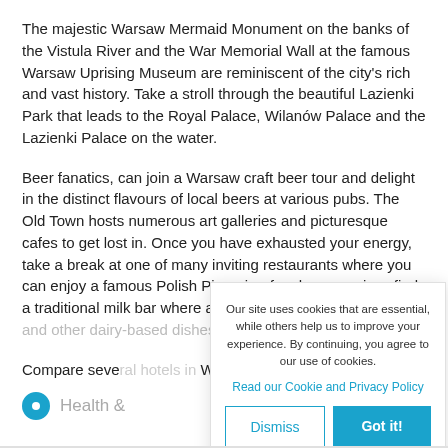The majestic Warsaw Mermaid Monument on the banks of the Vistula River and the War Memorial Wall at the famous Warsaw Uprising Museum are reminiscent of the city's rich and vast history. Take a stroll through the beautiful Lazienki Park that leads to the Royal Palace, Wilanów Palace and the Lazienki Palace on the water.
Beer fanatics, can join a Warsaw craft beer tour and delight in the distinct flavours of local beers at various pubs. The Old Town hosts numerous art galleries and picturesque cafes to get lost in. Once you have exhausted your energy, take a break at one of many inviting restaurants where you can enjoy a famous Polish Pierogi or for cheaper prices find a traditional milk bar where affordable yet delicious soups and other dairy-based dishes are served.
Compare seve[ral hotels in] Warsaw online[...]
Health &[...]
Our site uses cookies that are essential, while others help us to improve your experience. By continuing, you agree to our use of cookies.
Read our Cookie and Privacy Policy
Dismiss
Got it!